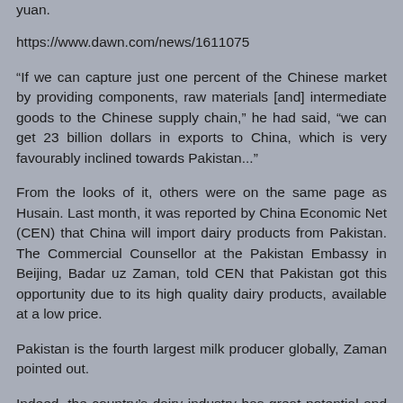yuan.
https://www.dawn.com/news/1611075
“If we can capture just one percent of the Chinese market by providing components, raw materials [and] intermediate goods to the Chinese supply chain,” he had said, “we can get 23 billion dollars in exports to China, which is very favourably inclined towards Pakistan...”
From the looks of it, others were on the same page as Husain. Last month, it was reported by China Economic Net (CEN) that China will import dairy products from Pakistan. The Commercial Counsellor at the Pakistan Embassy in Beijing, Badar uz Zaman, told CEN that Pakistan got this opportunity due to its high quality dairy products, available at a low price.
Pakistan is the fourth largest milk producer globally, Zaman pointed out.
Indeed, the country's dairy industry has great potential and can prove to be ‘white gold’ for Pakistan. Unfortunately, the